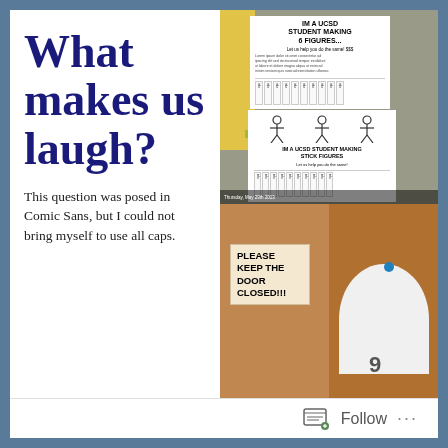What makes us laugh?
This question was posed in Comic Sans, but I could not bring myself to use all caps.
[Figure (photo): Bulletin board with a flyer reading 'IM A UCSD STUDENT MAKING 6 FIGURES...' with tear-off tabs, and below it a parody flyer with stick figures reading 'IM A UCSD STUDENT MAKING STICK FIGURES', also with tear-off tabs. Yellow and green posters visible behind.]
[Figure (photo): Bottom-left: a wooden door with a handwritten sign reading 'PLEASE KEEP THE DOOR CLOSED!!!'. Bottom-right: a curved white object with a blue pushpin, partially visible number.]
Follow ...